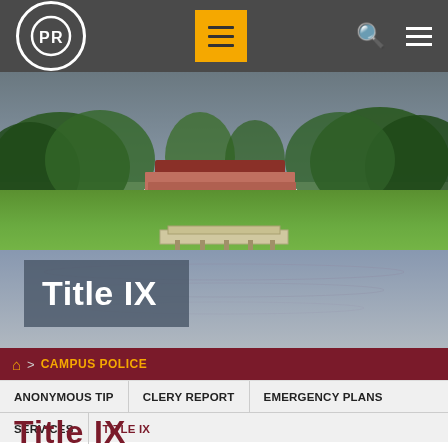CPR college logo, hamburger menu, search, menu bars navigation
[Figure (photo): Campus outdoor photo showing pond/lake with wooden dock, green lawn, trees on left and right, and a red-roofed building in the background, under a grey sky]
Title IX
Home > CAMPUS POLICE
ANONYMOUS TIP | CLERY REPORT | EMERGENCY PLANS | SERVICES | TITLE IX
Title IX